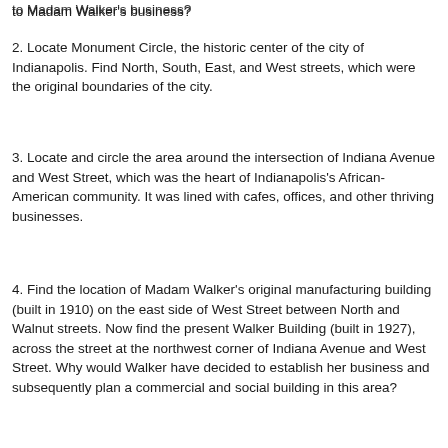to Madam Walker's business?
2. Locate Monument Circle, the historic center of the city of Indianapolis. Find North, South, East, and West streets, which were the original boundaries of the city.
3. Locate and circle the area around the intersection of Indiana Avenue and West Street, which was the heart of Indianapolis's African-American community. It was lined with cafes, offices, and other thriving businesses.
4. Find the location of Madam Walker's original manufacturing building (built in 1910) on the east side of West Street between North and Walnut streets. Now find the present Walker Building (built in 1927), across the street at the northwest corner of Indiana Avenue and West Street. Why would Walker have decided to establish her business and subsequently plan a commercial and social building in this area?